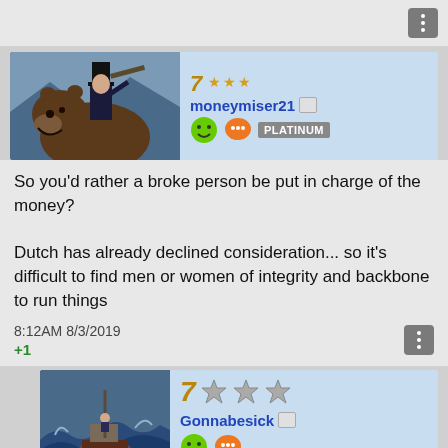[Figure (screenshot): Top grey bar with three-dot menu button]
[Figure (screenshot): User profile header for moneymiser21 with avatar showing Lincoln riding a bear, level 7, PLATINUM badge, stars]
So you'd rather a broke person be put in charge of the money?

Dutch has already declined consideration... so it's difficult to find men or women of integrity and backbone to run things
8:12AM 8/3/2019
+1
[Figure (screenshot): User profile header for Gonnabesick with avatar showing boat in storm, level 7, three grey stars]